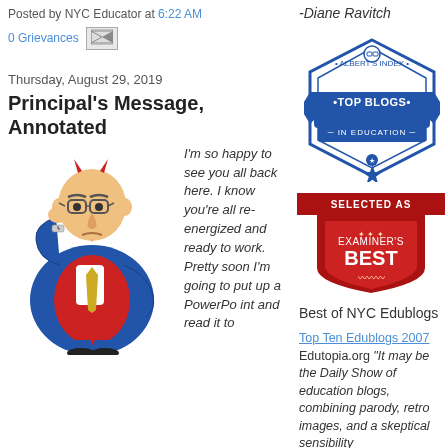Posted by NYC Educator at 6:22 AM
0 Grievances
Thursday, August 29, 2019
Principal's Message, Annotated
[Figure (illustration): Cartoon of a heavyset man in a blue suit and red vest, looking at his watch, with a stern expression]
I'm so happy to see you all back here. I know you're all re-energized and ready to work. Pretty soon I'm going to put up a PowerPoint and read it to
-Diane Ravitch
[Figure (logo): Albert's Index Top Blogs in Education hexagonal badge]
[Figure (logo): Examiner's Best shield badge with SELECTED AS banner]
Best of NYC Edublogs
Top Ten Edublogs 2007 Edutopia.org "It may be the Daily Show of education blogs, combining parody, retro images, and a skeptical sensibility